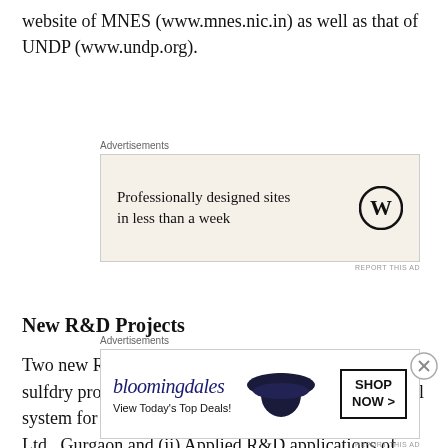website of MNES (www.mnes.nic.in) as well as that of UNDP (www.undp.org).
[Figure (other): Advertisement box with WordPress logo: 'Professionally designed sites in less than a week']
New R&D Projects
Two new R&D projects viz. (i) Demonstration of sulfdry process – a low cost hydrogen sulphide removal system for power generation: by M/s Engineers India Ltd., Gurgaon and (ii) Applied R&D applications of USAB system and energy recovery from tannery wastewater at CETP Dindigul, Tamilnadu: by CLRI, Chennai have been
[Figure (other): Advertisement box: Bloomingdale's - 'View Today's Top Deals!' with Shop Now button]